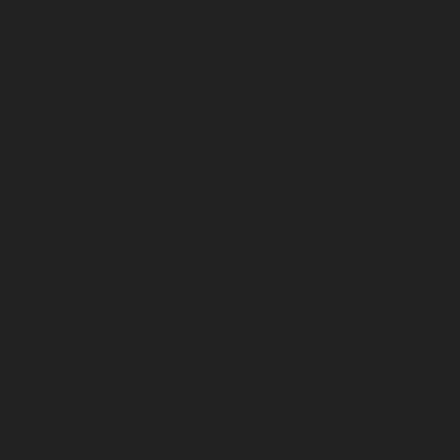1167  Salomon S LAB XT 6 (site) — "They can take from the CPP that I... Every single paycheque I paid for it..."
1168  Nike Air Max 90 Femme (site) — L'arrêt de la Cour européenne pour... gouvernement fran?ais qui, à de Ni...
1169  Nike Air Max Lunar Homme — Un air de déjà vu ? Mais c'est bien... plus personne n'en parle. Trop loin... capitale.
1170  Nike Air Max 2012 (site) a éc... — Up until this afternoon, Del Mastro s... Aglukkaq (Canadian Northern Econ... Development Agency for Southern... Northern Ontario).
1171  Nike Free 4.0 V3 (site) a esc...